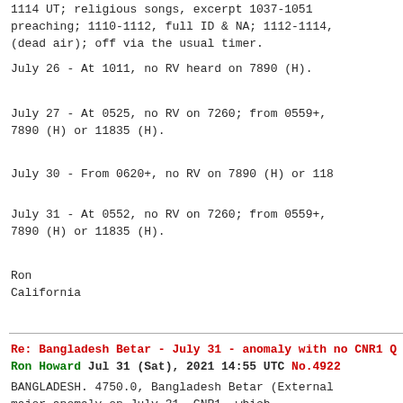1114 UT; religious songs, excerpt 1037-1051 preaching; 1110-1112, full ID & NA; 1112-1114, (dead air); off via the usual timer.
July 26 - At 1011, no RV heard on 7890 (H).
July 27 - At 0525, no RV on 7260; from 0559+, 7890 (H) or 11835 (H).
July 30 - From 0620+, no RV on 7890 (H) or 118...
July 31 - At 0552, no RV on 7260; from 0559+, 7890 (H) or 11835 (H).
Ron
California
Re: Bangladesh Betar - July 31 - anomaly with no CNR1 Q...
Ron Howard Jul 31 (Sat), 2021 14:55 UTC No.4922
BANGLADESH. 4750.0, Bangladesh Betar (External... major anomaly on July 31. CNR1, which usually is well heard here, was off the air (C... was heard normally!); extremely rare for CNR1 to be silent here; RR untr on at 1000 UT and ir...